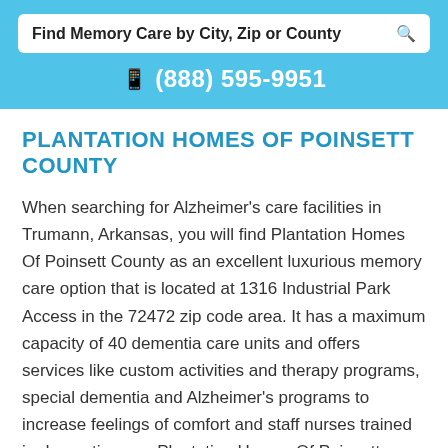[Figure (screenshot): Search bar with text 'Find Memory Care by City, Zip or County' and a magnifying glass icon on white background inside a blue header area]
(888) 595-9951
PLANTATION HOMES OF POINSETT COUNTY
When searching for Alzheimer's care facilities in Trumann, Arkansas, you will find Plantation Homes Of Poinsett County as an excellent luxurious memory care option that is located at 1316 Industrial Park Access in the 72472 zip code area. It has a maximum capacity of 40 dementia care units and offers services like custom activities and therapy programs, special dementia and Alzheimer's programs to increase feelings of comfort and staff nurses trained in dementia care. Plantation Homes Of Poinsett County provides memory care not only to Trumann residents, but also to all Poinsett county residents as